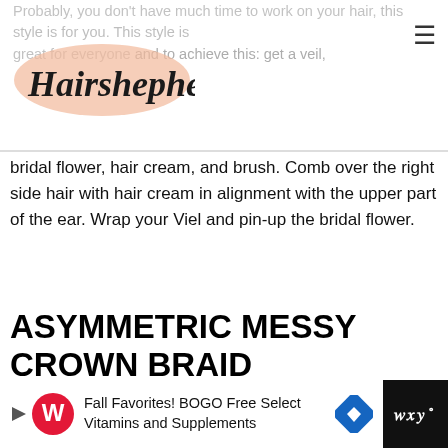[Figure (logo): Hairshepherd logo in cursive script on peach/salmon background oval]
Probably, you don't have much time to work on your hair, this style is for you. This style is great for everyone and to achieve this: get a veil, bridal flower, hair cream, and brush. Comb over the right side hair with hair cream in alignment with the upper part of the ear. Wrap your Viel and pin-up the bridal flower.
ASYMMETRIC MESSY CROWN BRAID
[Figure (photo): Back view of a person with dark hair styled in a crown braid with white floral hair accessory, standing against a brick wall background]
[Figure (screenshot): Advertisement bar: Walgreens Fall Favorites! BOGO Free Select Vitamins and Supplements with blue diamond arrow icon]